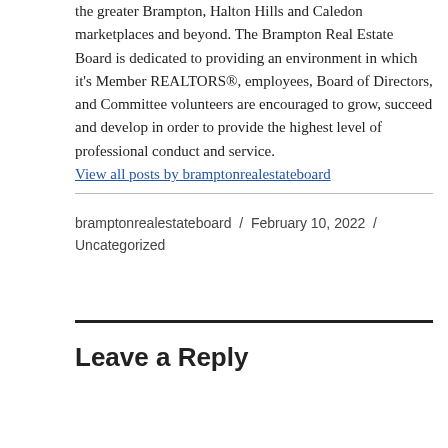the greater Brampton, Halton Hills and Caledon marketplaces and beyond. The Brampton Real Estate Board is dedicated to providing an environment in which it's Member REALTORS®, employees, Board of Directors, and Committee volunteers are encouraged to grow, succeed and develop in order to provide the highest level of professional conduct and service. View all posts by bramptonrealestateboard
bramptonrealestateboard / February 10, 2022 / Uncategorized
Leave a Reply